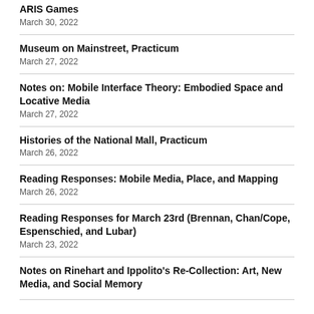ARIS Games
March 30, 2022
Museum on Mainstreet, Practicum
March 27, 2022
Notes on: Mobile Interface Theory: Embodied Space and Locative Media
March 27, 2022
Histories of the National Mall, Practicum
March 26, 2022
Reading Responses: Mobile Media, Place, and Mapping
March 26, 2022
Reading Responses for March 23rd (Brennan, Chan/Cope, Espenschied, and Lubar)
March 23, 2022
Notes on Rinehart and Ippolito's Re-Collection: Art, New Media, and Social Memory